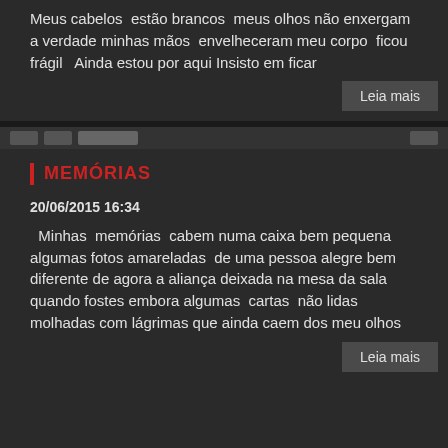Meus cabelos estão brancos meus olhos não enxergam a verdade minhas mãos envelheceram meu corpo ficou frágil Ainda estou por aqui Insisto em ficar
Leia mais
MEMÓRIAS
20/06/2015 16:34
Minhas memórias cabem numa caixa bem pequena algumas fotos amareladas de uma pessoa alegre bem diferente de agora a aliança deixada na mesa da sala quando fostes embora algumas cartas não lidas molhadas com lágrimas que ainda caem dos meu olhos
Leia mais